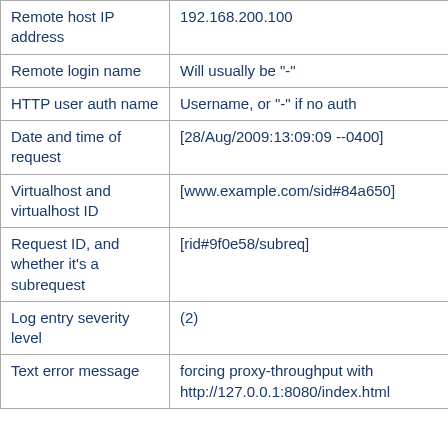| Field | Description |
| --- | --- |
| Remote host IP address | 192.168.200.100 |
| Remote login name | Will usually be "-" |
| HTTP user auth name | Username, or "-" if no auth |
| Date and time of request | [28/Aug/2009:13:09:09 --0400] |
| Virtualhost and virtualhost ID | [www.example.com/sid#84a650] |
| Request ID, and whether it's a subrequest | [rid#9f0e58/subreq] |
| Log entry severity level | (2) |
| Text error message | forcing proxy-throughput with http://127.0.0.1:8080/index.html |